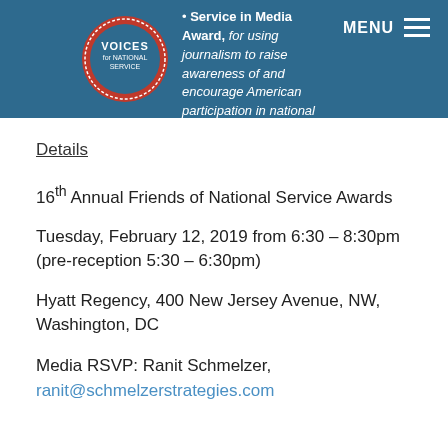Service in Media Award, for using journalism to raise awareness of and encourage American participation in national service: Rochelle Riley, Detroit Free Press and The Advocate (Baton Rouge, LA)
[Figure (logo): Voices for National Service circular logo with red badge and blue center]
Details
16th Annual Friends of National Service Awards
Tuesday, February 12, 2019 from 6:30 – 8:30pm (pre-reception 5:30 – 6:30pm)
Hyatt Regency, 400 New Jersey Avenue, NW, Washington, DC
Media RSVP: Ranit Schmelzer, ranit@schmelzerstrategies.com